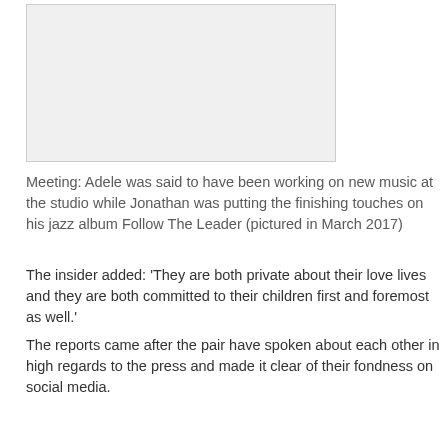[Figure (photo): A photo placeholder shown as a light grey rectangle]
Meeting: Adele was said to have been working on new music at the studio while Jonathan was putting the finishing touches on his jazz album Follow The Leader (pictured in March 2017)
The insider added: ‘They are both private about their love lives and they are both committed to their children first and foremost as well.’
The reports came after the pair have spoken about each other in high regards to the press and made it clear of their fondness on social media.
In 2016, Skepta said of Adele to ES Magazine: ‘Adele texts me all the time and keeps me in check. She speaks to me about how things are going.’
While in the same year, the Someone Like You hitmaker